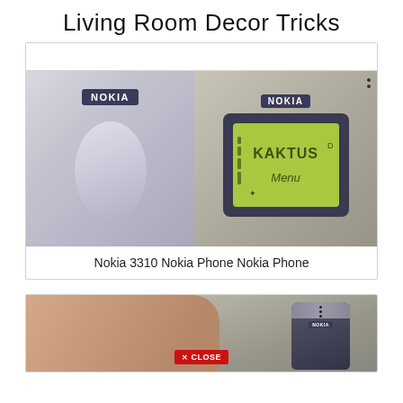Living Room Decor Tricks
[Figure (photo): Two Nokia 3310 mobile phones side by side, showing the back of one and the front of the other with a green LCD screen displaying 'KAKTUS' and 'Menu']
Nokia 3310 Nokia Phone Nokia Phone
[Figure (photo): A hand holding a small Nokia mobile phone, with a red 'X CLOSE' button overlay at the bottom]